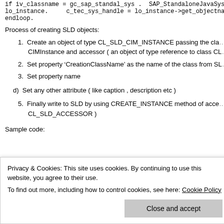if iv_classname = gc_sap_standal_sys .   SAP_StandaloneJavaSystem lo_instance.      c_tec_sys_handle = lo_instance->get_objectname( ). endloop.
Process of creating SLD objects:
1. Create an object of type CL_SLD_CIM_INSTANCE passing the class CIMInstance and accessor ( an object of type reference to class CL_...
2. Set property 'CreationClassName' as the name of the class from SL...
3. Set property name
d)  Set any other attribute ( like caption , description etc )
5. Finally write to SLD by using CREATE_INSTANCE method of accessor CL_SLD_ACCESSOR )
Sample code:
Privacy & Cookies: This site uses cookies. By continuing to use this website, you agree to their use. To find out more, including how to control cookies, see here: Cookie Policy
Close and accept